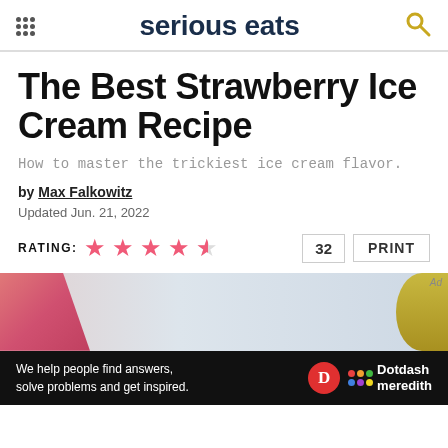serious eats
The Best Strawberry Ice Cream Recipe
How to master the trickiest ice cream flavor.
by Max Falkowitz
Updated Jun. 21, 2022
RATING: ★★★★½   32   PRINT
[Figure (photo): Top-down photo of strawberry ice cream in a loaf pan and a gold container on a light blue surface]
We help people find answers, solve problems and get inspired. Dotdash meredith